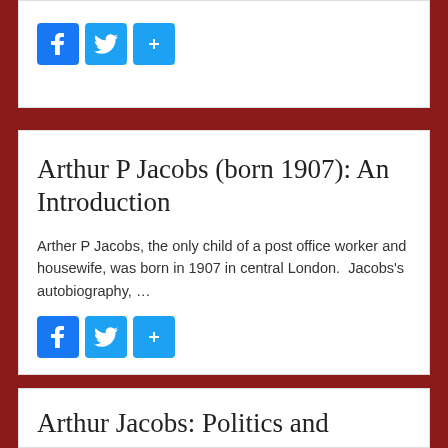[Figure (other): Social share buttons: Facebook (blue f), Twitter (blue bird), Share (blue +) — top card]
Arthur P Jacobs (born 1907): An Introduction
Arther P Jacobs, the only child of a post office worker and housewife, was born in 1907 in central London. Jacobs's autobiography, …
[Figure (other): Social share buttons: Facebook (blue f), Twitter (blue bird), Share (blue +) — middle card]
Arthur Jacobs: Politics and